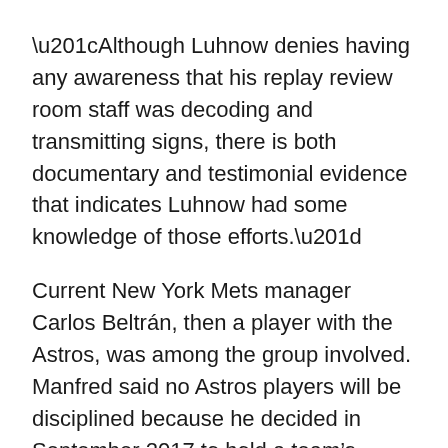“Although Luhnow denies having any awareness that his replay review room staff was decoding and transmitting signs, there is both documentary and testimonial evidence that indicates Luhnow had some knowledge of those efforts.”
Current New York Mets manager Carlos Beltrán, then a player with the Astros, was among the group involved. Manfred said no Astros players will be disciplined because he decided in September 2017 to hold a team’s manager and GM responsible.
“Virtually all of the Astros’ players had some involvement or knowledge of the scheme, and